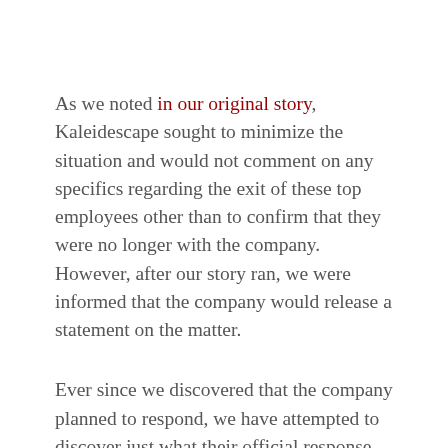As we noted in our original story, Kaleidescape sought to minimize the situation and would not comment on any specifics regarding the exit of these top employees other than to confirm that they were no longer with the company. However, after our story ran, we were informed that the company would release a statement on the matter.
Ever since we discovered that the company planned to respond, we have attempted to discover just what their official response would be. Our original report ran on Friday, February 28th, after which we were told Kaleidescape's